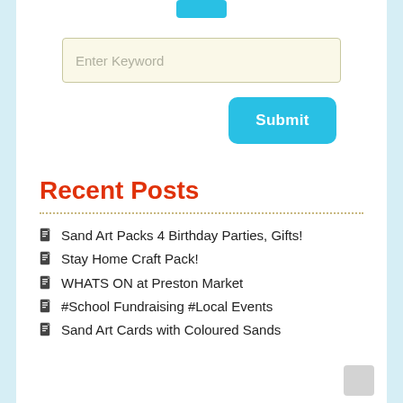[Figure (screenshot): Blue button partially visible at top center of page]
Enter Keyword
Submit
Recent Posts
Sand Art Packs 4 Birthday Parties, Gifts!
Stay Home Craft Pack!
WHATS ON at Preston Market
#School Fundraising #Local Events
Sand Art Cards with Coloured Sands